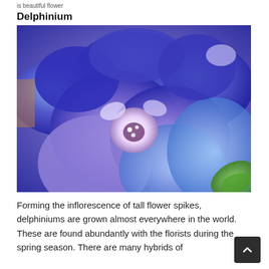is beautiful flower
Delphinium
[Figure (photo): Close-up photograph of Delphinium flowers in shades of blue and purple with a white center]
Forming the inflorescence of tall flower spikes, delphiniums are grown almost everywhere in the world. These are found abundantly with the florists during the spring season. There are many hybrids of this...